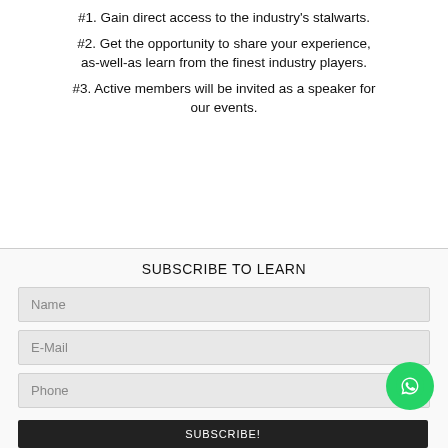#1. Gain direct access to the industry's stalwarts.
#2. Get the opportunity to share your experience, as-well-as learn from the finest industry players.
#3. Active members will be invited as a speaker for our events.
SUBSCRIBE TO LEARN
Name
E-Mail
Phone
SUBSCRIBE!